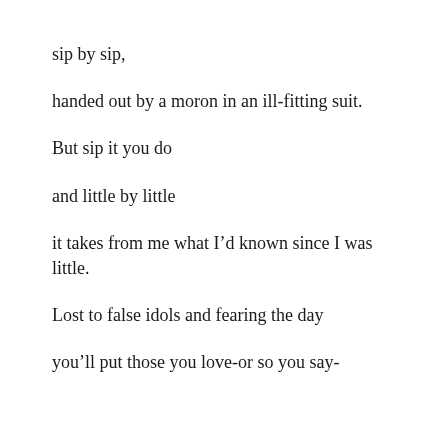sip by sip,
handed out by a moron in an ill-fitting suit.
But sip it you do
and little by little
it takes from me what I’d known since I was little.
Lost to false idols and fearing the day
you’ll put those you love-or so you say-